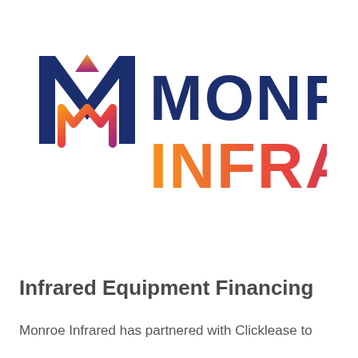[Figure (logo): Monroe Infrared logo: large stylized 'M' letter with gradient orange-to-purple coloring on the left side elements, dark navy blue on outer strokes; text 'MONROE' in dark navy bold uppercase; 'INFRARED' in gradient orange-to-red-to-purple bold uppercase]
Infrared Equipment Financing
Monroe Infrared has partnered with Clicklease to